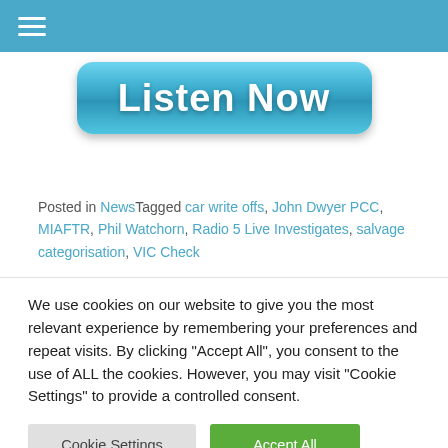Menu / Navigation header bar with hamburger icon
[Figure (illustration): Listen Now button - a rounded pill-shaped button with teal/blue gradient background and white bold text reading 'Listen Now']
Posted in NewsTagged car write offs, John Dwyer PCC, MIAFTR, Phil Watchorn, Radio 5 Live Investigates, salvage categorisation, VIC Check
We use cookies on our website to give you the most relevant experience by remembering your preferences and repeat visits. By clicking "Accept All", you consent to the use of ALL the cookies. However, you may visit "Cookie Settings" to provide a controlled consent.